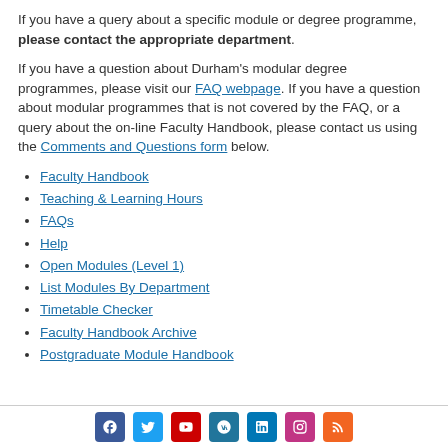If you have a query about a specific module or degree programme, please contact the appropriate department.
If you have a question about Durham's modular degree programmes, please visit our FAQ webpage. If you have a question about modular programmes that is not covered by the FAQ, or a query about the on-line Faculty Handbook, please contact us using the Comments and Questions form below.
Faculty Handbook
Teaching & Learning Hours
FAQs
Help
Open Modules (Level 1)
List Modules By Department
Timetable Checker
Faculty Handbook Archive
Postgraduate Module Handbook
Social media links: Facebook, Twitter, YouTube, WordPress, LinkedIn, Instagram, RSS